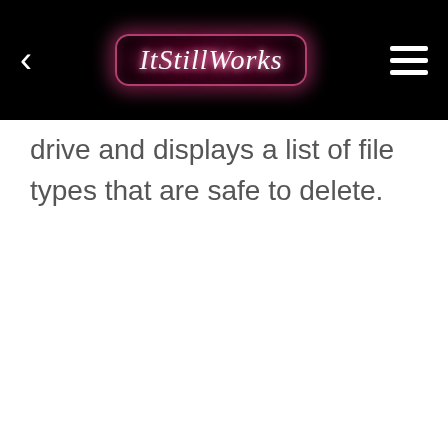ItStillWorks
drive and displays a list of file types that are safe to delete.